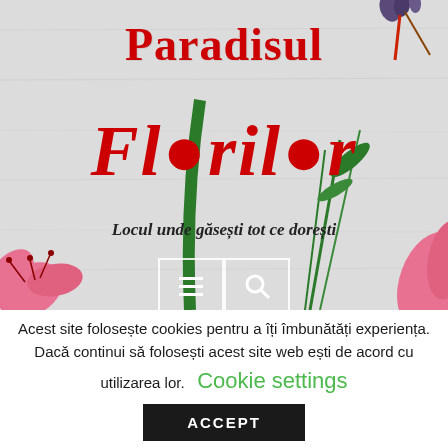[Figure (illustration): Hero banner with light gray textured background featuring decorative flowers (pink lily on left, pink lily petal on right, green stems and leaves in center), small decorative flowers at top right corner]
Paradisul Florilor
Locul unde găsești tot ce dorești
[Figure (other): Navigation icon buttons - menu/hamburger icon and search/magnifier icon in white bordered boxes]
Acest site folosește cookies pentru a îți îmbunătăți experiența. Dacă continui să folosești acest site web ești de acord cu utilizarea lor.    Cookie settings
ACCEPT